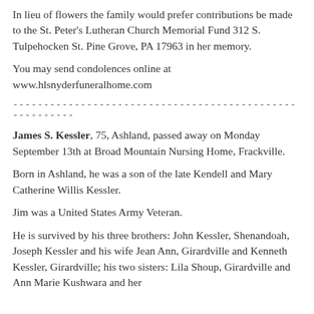In lieu of flowers the family would prefer contributions be made to the St. Peter's Lutheran Church Memorial Fund 312 S. Tulpehocken St. Pine Grove, PA 17963 in her memory.
You may send condolences online at www.hlsnyderfuneralhome.com
--------------------------------------------------------
James S. Kessler, 75, Ashland, passed away on Monday September 13th at Broad Mountain Nursing Home, Frackville.
Born in Ashland, he was a son of the late Kendell and Mary Catherine Willis Kessler.
Jim was a United States Army Veteran.
He is survived by his three brothers: John Kessler, Shenandoah, Joseph Kessler and his wife Jean Ann, Girardville and Kenneth Kessler, Girardville; his two sisters: Lila Shoup, Girardville and Ann Marie Kushwara and her husband Frank, Frackville; and his nieces and nephews.